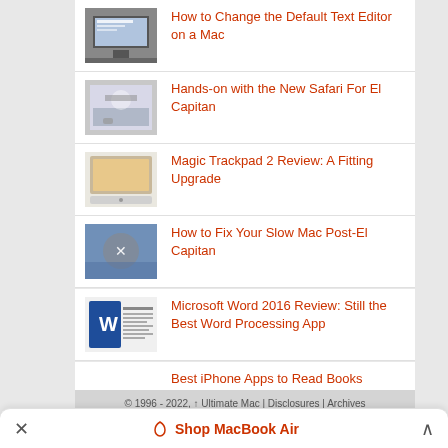How to Change the Default Text Editor on a Mac
Hands-on with the New Safari For El Capitan
Magic Trackpad 2 Review: A Fitting Upgrade
How to Fix Your Slow Mac Post-El Capitan
Microsoft Word 2016 Review: Still the Best Word Processing App
Best iPhone Apps to Read Books
© 1996 - 2022, ↑ Ultimate Mac | Disclosures | Archives
Log in
Shop MacBook Air